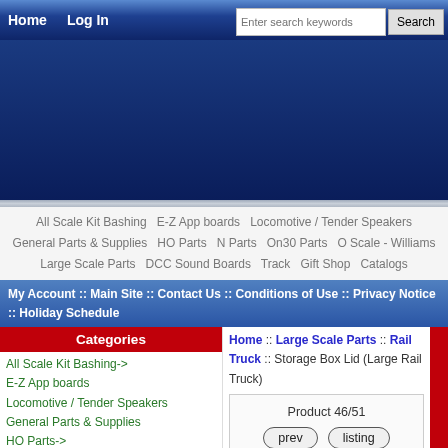Home  Log In  [search bar]  Search
[Figure (other): Dark blue banner/advertisement area]
All Scale Kit Bashing  E-Z App boards  Locomotive / Tender Speakers  General Parts & Supplies  HO Parts  N Parts  On30 Parts  O Scale - Williams  Large Scale Parts  DCC Sound Boards  Track  Gift Shop  Catalogs
My Account :: Main Site :: Contact Us :: Conditions of Use :: Privacy Notice :: Holiday Schedule
Categories
All Scale Kit Bashing->
E-Z App boards
Locomotive / Tender Speakers
General Parts & Supplies
HO Parts->
N Parts->
On30 Parts->
O Scale - Williams->
Large Scale Parts->
L 0-4-0 Gas Mechanical
L 0-4-0 Saddle Tank Porter
L 0-4-0 Side Tank Porter
Home :: Large Scale Parts :: Rail Truck :: Storage Box Lid (Large Rail Truck)
Product 46/51
prev  listing